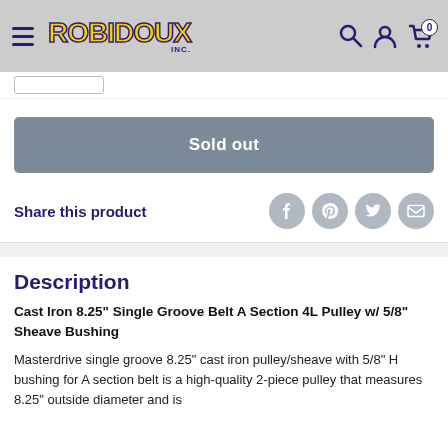Robidoux Inc. — navigation header with hamburger menu, logo, search, account, and cart icons
Sold out
Share this product
Description
Cast Iron 8.25" Single Groove Belt A Section 4L Pulley w/ 5/8" Sheave Bushing
Masterdrive single groove 8.25" cast iron pulley/sheave with 5/8" H bushing for A section belt is a high-quality 2-piece pulley that measures 8.25" outside diameter and is